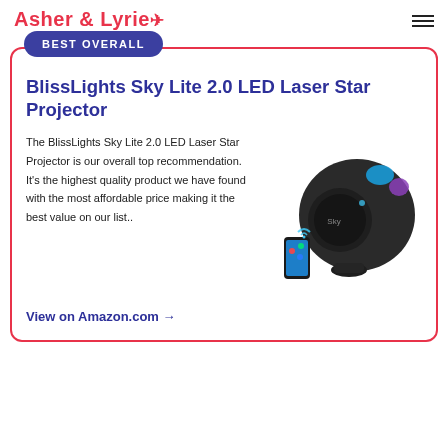Asher & Lyrie
BlissLights Sky Lite 2.0 LED Laser Star Projector
The BlissLights Sky Lite 2.0 LED Laser Star Projector is our overall top recommendation. It's the highest quality product we have found with the most affordable price making it the best value on our list..
[Figure (photo): BlissLights Sky Lite 2.0 LED Laser Star Projector — a dark rounded cylindrical device with colorful LED lights on top, shown alongside a smartphone]
View on Amazon.com →